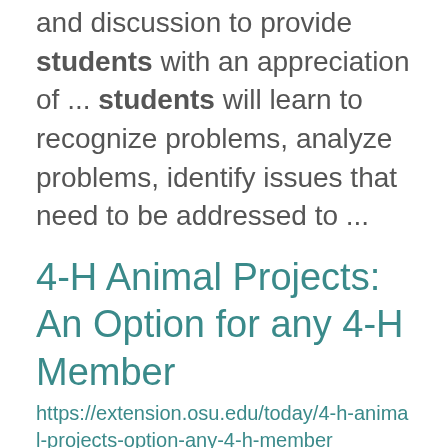and discussion to provide students with an appreciation of ... students will learn to recognize problems, analyze problems, identify issues that need to be addressed to ...
4-H Animal Projects: An Option for any 4-H Member
https://extension.osu.edu/today/4-h-animal-projects-option-any-4-h-member
Guide  outlines the entire collection of Ohio 4-H projects for the current year. During the summer fair ... egg. Students get to monitor living eggs and care for newly-hatched chicks. Contact your local Ohio ...